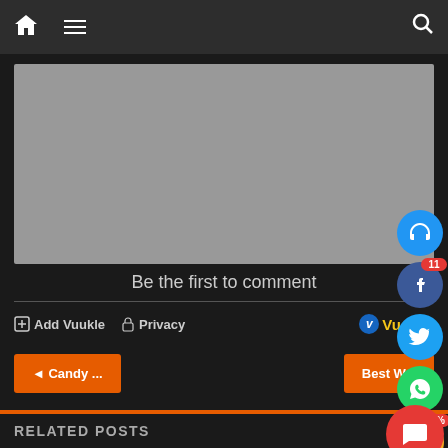[Figure (screenshot): Website navigation bar with home icon, hamburger menu icon, and search icon on dark background]
[Figure (photo): Gray placeholder image/advertisement block]
[Figure (infographic): Social media sharing sidebar with headphone, Facebook (badge 11), Twitter, WhatsApp, and angry emoji (100%) icons]
Be the first to comment
Add Vuukle   Privacy
Vuukle
◄ Candy ...
Best W...
[Figure (illustration): Red notification blob with chat icon]
RELATED POSTS